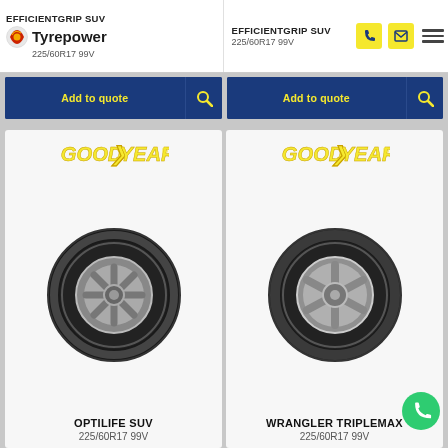Tyrepower — EFFICIENTGRIP SUV 225/60R17 99V (left) | EFFICIENTGRIP SUV 225/60R17 99V (right)
Add to quote (left card)
Add to quote (right card)
[Figure (photo): Goodyear OPTILIFE SUV tyre on alloy wheel — product card with Goodyear logo, tyre image, name OPTILIFE SUV, size 225/60R17 99V]
[Figure (photo): Goodyear WRANGLER TRIPLEMAX tyre on alloy wheel — product card with Goodyear logo, tyre image, name WRANGLER TRIPLEMAX, size 225/60R17 99V]